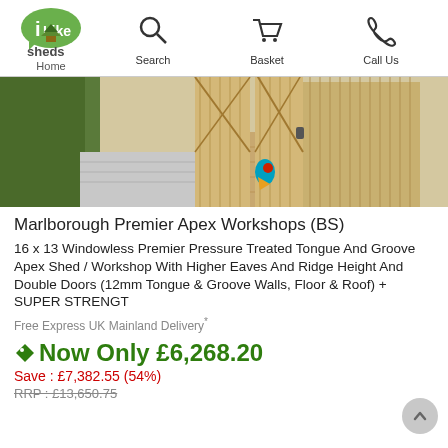iLike sheds — Home | Search | Basket | Call Us
[Figure (photo): Product photo of a wooden apex shed/workshop with open double doors showing interior, viewed from outside on a deck.]
Marlborough Premier Apex Workshops (BS)
16 x 13 Windowless Premier Pressure Treated Tongue And Groove Apex Shed / Workshop With Higher Eaves And Ridge Height And Double Doors (12mm Tongue & Groove Walls, Floor & Roof) + SUPER STRENGT
Free Express UK Mainland Delivery*
Now Only £6,268.20
Save : £7,382.55 (54%)
RRP : £13,650.75